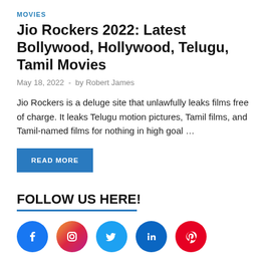MOVIES
Jio Rockers 2022: Latest Bollywood, Hollywood, Telugu, Tamil Movies
May 18, 2022  -  by Robert James
Jio Rockers is a deluge site that unlawfully leaks films free of charge. It leaks Telugu motion pictures, Tamil films, and Tamil-named films for nothing in high goal …
READ MORE
FOLLOW US HERE!
[Figure (infographic): Social media icons row: Facebook (blue circle), Instagram (gradient circle), Twitter (light blue circle), LinkedIn (dark blue circle), Pinterest (red circle)]